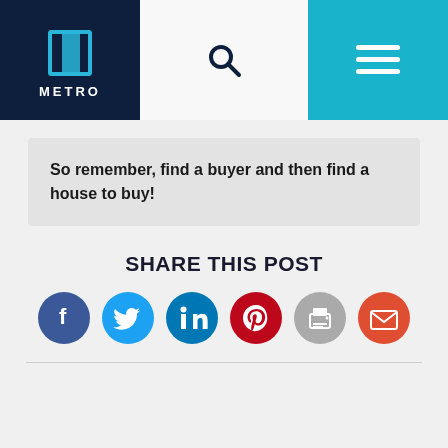[Figure (logo): Metro real estate logo with house icon and text METRO on dark navy background]
[Figure (other): Search icon (magnifying glass) in center header area]
[Figure (other): Hamburger menu icon (three horizontal lines) on teal background]
So remember, find a buyer and then find a house to buy!
SHARE THIS POST
[Figure (infographic): Social share icons: Facebook, Twitter, LinkedIn, Pinterest, Print, Email]